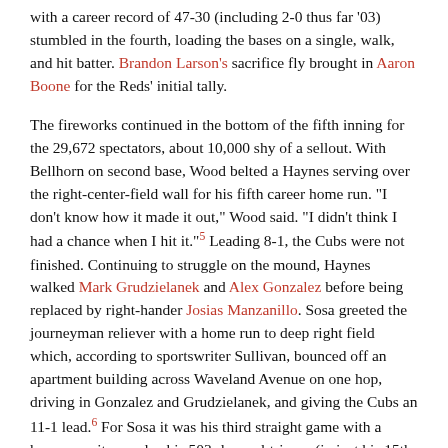with a career record of 47-30 (including 2-0 thus far '03) stumbled in the fourth, loading the bases on a single, walk, and hit batter. Brandon Larson's sacrifice fly brought in Aaron Boone for the Reds' initial tally.
The fireworks continued in the bottom of the fifth inning for the 29,672 spectators, about 10,000 shy of a sellout. With Bellhorn on second base, Wood belted a Haynes serving over the right-center-field wall for his fifth career home run. "I don't know how it made it out," Wood said. "I didn't think I had a chance when I hit it."5 Leading 8-1, the Cubs were not finished. Continuing to struggle on the mound, Haynes walked Mark Grudzielanek and Alex Gonzalez before being replaced by right-hander Josias Manzanillo. Sosa greeted the journeyman reliever with a home run to deep right field which, according to sportswriter Sullivan, bounced off an apartment building across Waveland Avenue on one hop, driving in Gonzalez and Grudzielanek, and giving the Cubs an 11-1 lead.6 For Sosa it was his third straight game with a home run; it was also his 503rd round-tripper (in just his 15th year), leaving him one shy of Eddie Murray for 17th place on the career list.7 "They've been hot the last three days," said Haynes